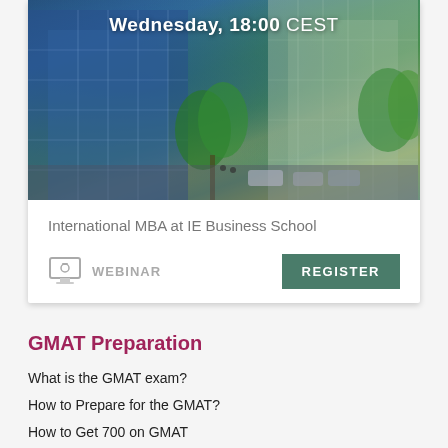[Figure (photo): Photo of a modern business school building with glass facade, trees, and street scene]
Wednesday, 18:00 CEST
International MBA at IE Business School
WEBINAR
REGISTER
GMAT Preparation
What is the GMAT exam?
How to Prepare for the GMAT?
How to Get 700 on GMAT
The Princeton Review GMAT Prep